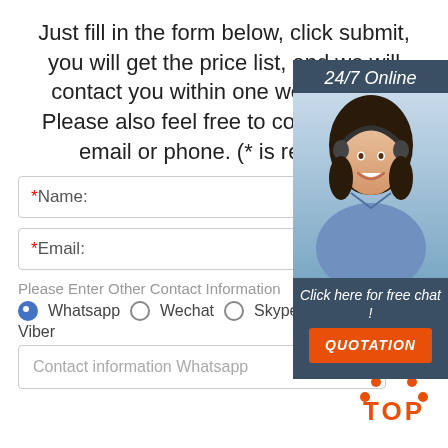Just fill in the form below, click submit, you will get the price list, and we will contact you within one working day. Please also feel free to contact us via email or phone. (* is required)
* Name:
* Email:
Please Enter Other Contact Information
Whatsapp  Wechat  Skype  Viber
Contact information Whatsapp
[Figure (photo): Customer service representative with headset, 24/7 Online chat widget with QUOTATION button]
[Figure (logo): TOP badge with orange dots arc and orange TOP text]